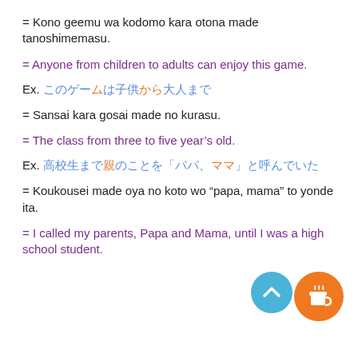= Kono geemu wa kodomo kara otona made tanoshimemasu.
= Anyone from children to adults can enjoy this game.
Ex. [Japanese text with colored characters]
= Sansai kara gosai made no kurasu.
= The class from three to five year’s old.
Ex. [Japanese text with colored characters]
= Koukousei made oya no koto wo “papa, mama” to yonde ita.
= I called my parents, Papa and Mama, until I was a high school student.